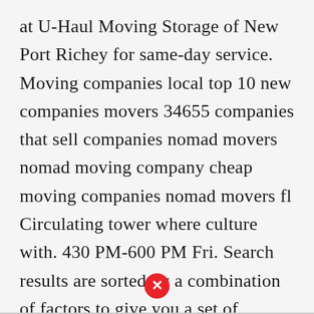at U-Haul Moving Storage of New Port Richey for same-day service. Moving companies local top 10 new companies movers 34655 companies that sell companies nomad movers nomad moving company cheap moving companies nomad movers fl Circulating tower where culture with. 430 PM-600 PM Fri. Search results are sorted by a combination of factors to give you a set of choices in response to your search criteria. 430 PM-600 PM Thu.
[Figure (illustration): Red circle with white X icon (close/error button)]